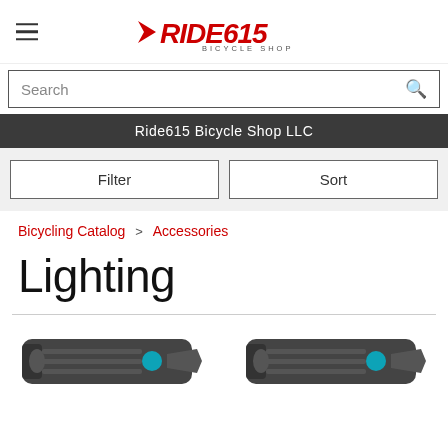[Figure (logo): Ride615 Bicycle Shop logo with red stylized text and arrow, subtitle 'BICYCLE SHOP']
Search
Ride615 Bicycle Shop LLC
Filter
Sort
Bicycling Catalog > Accessories
Lighting
[Figure (photo): Two bicycle lights shown at the bottom of the page]